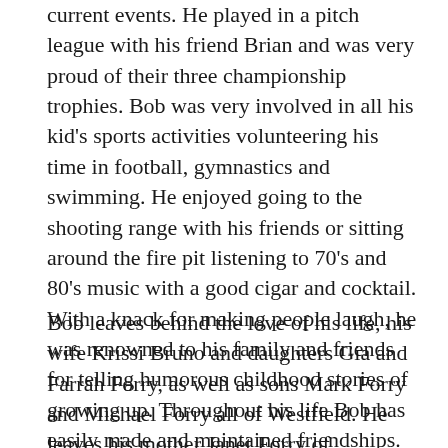current events. He played in a pitch league with his friend Brian and was very proud of their three championship trophies. Bob was very involved in all his kid's sports activities volunteering his time in football, gymnastics and swimming. He enjoyed going to the shooting range with his friends or sitting around the fire pit listening to 70's and 80's music with a good cigar and cocktail. With a knack for making people laugh, he was renowned to his family and friends for telling humorous childhood stories of growing up. Throughout his life Bob has easily made and maintained friendships. The number of family and friends that loved Bob is a true testament to a life well lived.
Bob leaves behind the love of his life, his wife Krissi Bruno and daughters Gia and Farrah Forry, as well as sons Mark Forry and Michael Forry all of Westfield. He leaves his mother Janet Forry of Westfield, his